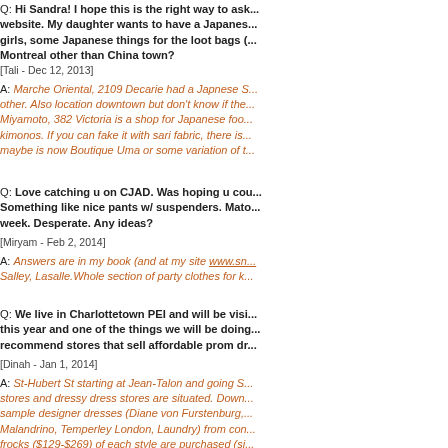Q: Hi Sandra! I hope this is the right way to ask... website. My daughter wants to have a Japanese... girls, some Japanese things for the loot bags (... Montreal other than China town?
[Tali - Dec 12, 2013]
A: Marche Oriental, 2109 Decarie had a Japnese S... other. Also location downtown but don't know if the... Miyamoto, 382 Victoria is a shop for Japanese foo... kimonos. If you can fake it with sari fabric, there is... maybe is now Boutique Uma or some variation of t...
Q: Love catching u on CJAD. Was hoping u cou... Something like nice pants w/ suspenders. Mato... week. Desperate. Any ideas?
[Miryam - Feb 2, 2014]
A: Answers are in my book (and at my site www.sn... Salley, Lasalle.Whole section of party clothes for k...
Q: We live in Charlottetown PEI and will be visi... this year and one of the things we will be doing... recommend stores that sell affordable prom dr...
[Dinah - Jan 1, 2014]
A: St-Hubert St starting at Jean-Talon and going S... stores and dressy dress stores are situated. Down... sample designer dresses (Diane von Furstenburg,... Malandrino, Temperley London, Laundry) from con... frocks ($129-$269) of each style are purchased (si... elsewhere. Custom orders and private appointmen...